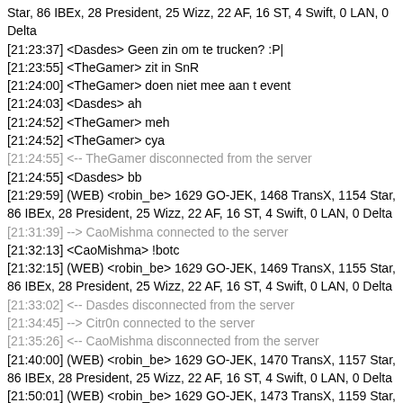Star, 86 IBEx, 28 President, 25 Wizz, 22 AF, 16 ST, 4 Swift, 0 LAN, 0 Delta
[21:23:37] <Dasdes> Geen zin om te trucken? :P|
[21:23:55] <TheGamer> zit in SnR
[21:24:00] <TheGamer> doen niet mee aan t event
[21:24:03] <Dasdes> ah
[21:24:52] <TheGamer> meh
[21:24:52] <TheGamer> cya
[21:24:55] <-- TheGamer disconnected from the server
[21:24:55] <Dasdes> bb
[21:29:59] (WEB) <robin_be> 1629 GO-JEK, 1468 TransX, 1154 Star, 86 IBEx, 28 President, 25 Wizz, 22 AF, 16 ST, 4 Swift, 0 LAN, 0 Delta
[21:31:39] --> CaoMishma connected to the server
[21:32:13] <CaoMishma> !botc
[21:32:15] (WEB) <robin_be> 1629 GO-JEK, 1469 TransX, 1155 Star, 86 IBEx, 28 President, 25 Wizz, 22 AF, 16 ST, 4 Swift, 0 LAN, 0 Delta
[21:33:02] <-- Dasdes disconnected from the server
[21:34:45] --> Citr0n connected to the server
[21:35:26] <-- CaoMishma disconnected from the server
[21:40:00] (WEB) <robin_be> 1629 GO-JEK, 1470 TransX, 1157 Star, 86 IBEx, 28 President, 25 Wizz, 22 AF, 16 ST, 4 Swift, 0 LAN, 0 Delta
[21:50:01] (WEB) <robin_be> 1629 GO-JEK, 1473 TransX, 1159 Star, 86 IBEx, 28 President, 25 Wizz, 22 AF, 16 ST, 4 Swift, 0